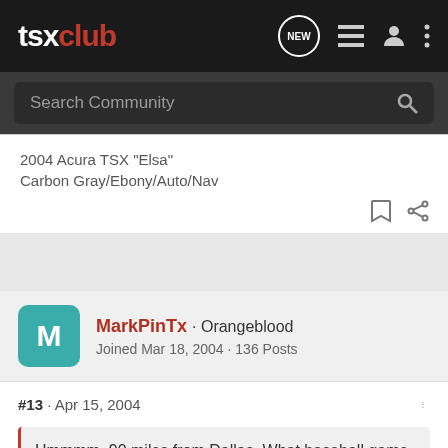tsx club
2004 Acura TSX "Elsa"
Carbon Gray/Ebony/Auto/Nav
MarkPinTx · Orangeblood
Joined Mar 18, 2004 · 136 Posts
#13 · Apr 15, 2004
Hmmmm, 90 miles from Dallas. What baseball game would that be......